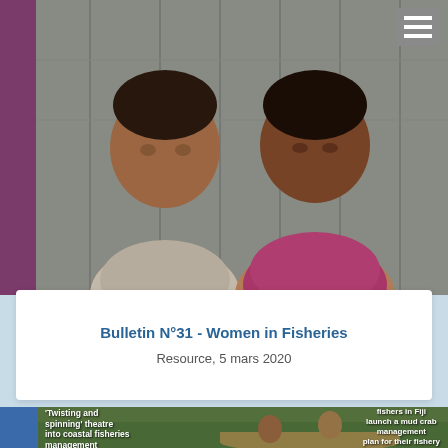[Figure (photo): Two Pacific Island women standing together smiling, with a wooden wall behind them. Purple stripe on left edge.]
Bulletin N°31 - Women in Fisheries
Resource, 5 mars 2020
[Figure (photo): Children in a wooden canoe on green water with text overlays: 'Twisting and spinning theatre into coastal fisheries management' on left and 'fishers in Fiji launch a mud crab management plan for their fishery' on right. Blue stripe on left edge.]